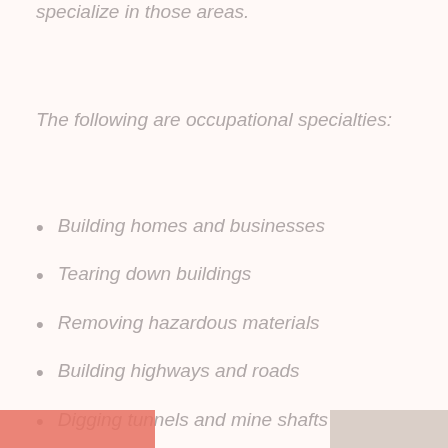specialize in those areas.
The following are occupational specialties:
Building homes and businesses
Tearing down buildings
Removing hazardous materials
Building highways and roads
Digging tunnels and mine shafts
construction   workers
[Figure (other): Social media icons: Twitter, Google+, Facebook, Pinterest]